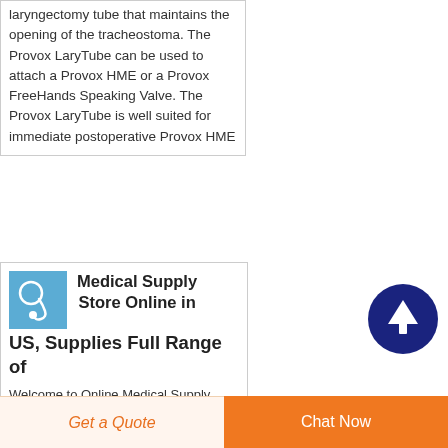laryngectomy tube that maintains the opening of the tracheostoma. The Provox LaryTube can be used to attach a Provox HME or a Provox FreeHands Speaking Valve. The Provox LaryTube is well suited for immediate postoperative Provox HME
[Figure (illustration): Small blue square image showing a stethoscope or medical device]
Medical Supply Store Online in US, Supplies Full Range of
Welcome to Online Medical Supply Store! We are a
[Figure (illustration): Dark navy blue circular button with white upward arrow icon]
Get a Quote
Chat Now